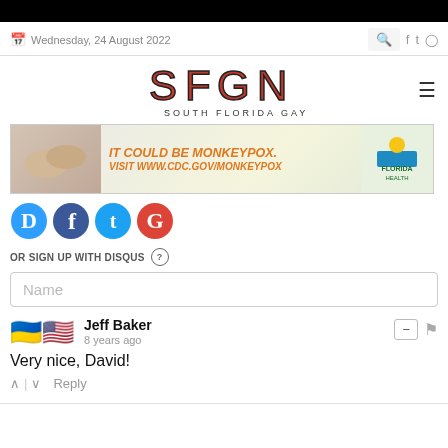Wednesday, 24 August 2022
[Figure (logo): SFGN South Florida Gay News logo]
[Figure (infographic): Monkeypox awareness ad banner: IT COULD BE MONKEYPOX. VISIT WWW.CDC.GOV/MONKEYPOX with Florida Health logo]
[Figure (other): Social login icons: Disqus, Facebook, Twitter, Google]
OR SIGN UP WITH DISQUS
Name
Jeff Baker
8 years ago
Very nice, David!